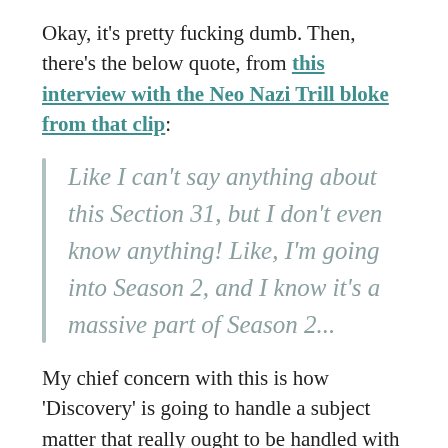Okay, it's pretty fucking dumb. Then, there's the below quote, from this interview with the Neo Nazi Trill bloke from that clip:
Like I can't say anything about this Section 31, but I don't even know anything! Like, I'm going into Season 2, and I know it's a massive part of Season 2...
My chief concern with this is how 'Discovery' is going to handle a subject matter that really ought to be handled with